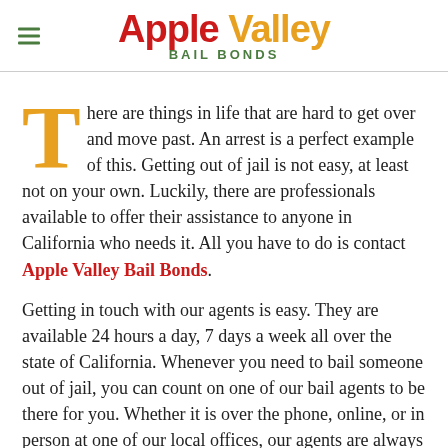Apple Valley BAIL BONDS
There are things in life that are hard to get over and move past. An arrest is a perfect example of this. Getting out of jail is not easy, at least not on your own. Luckily, there are professionals available to offer their assistance to anyone in California who needs it. All you have to do is contact Apple Valley Bail Bonds.
Getting in touch with our agents is easy. They are available 24 hours a day, 7 days a week all over the state of California. Whenever you need to bail someone out of jail, you can count on one of our bail agents to be there for you. Whether it is over the phone, online, or in person at one of our local offices, our agents are always ready to help you.